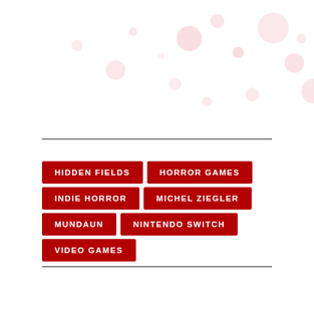[Figure (illustration): Decorative background with pink and red circle blobs scattered across the top portion of the page]
HIDDEN FIELDS
HORROR GAMES
INDIE HORROR
MICHEL ZIEGLER
MUNDAUN
NINTENDO SWITCH
VIDEO GAMES